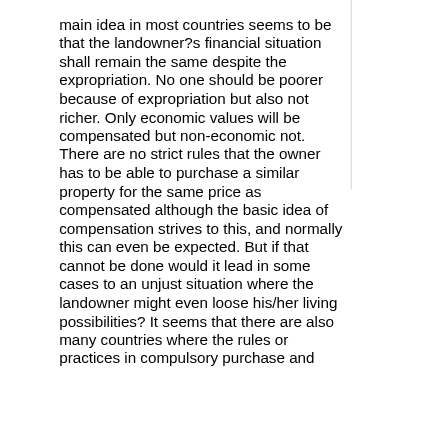main idea in most countries seems to be that the landowner?s financial situation shall remain the same despite the expropriation. No one should be poorer because of expropriation but also not richer. Only economic values will be compensated but non-economic not. There are no strict rules that the owner has to be able to purchase a similar property for the same price as compensated although the basic idea of compensation strives to this, and normally this can even be expected. But if that cannot be done would it lead in some cases to an unjust situation where the landowner might even loose his/her living possibilities? It seems that there are also many countries where the rules or practices in compulsory purchase and